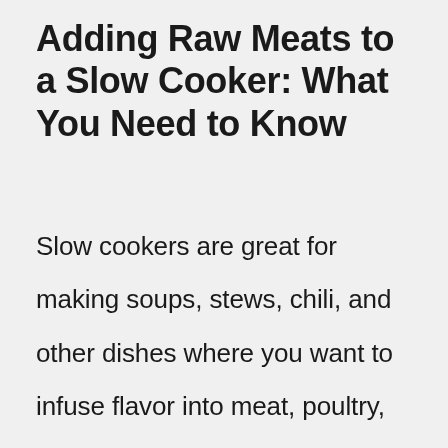Adding Raw Meats to a Slow Cooker: What You Need to Know
Slow cookers are great for making soups, stews, chili, and other dishes where you want to infuse flavor into meat, poultry, fish, vegetables, and even desserts. However, if you're planning on